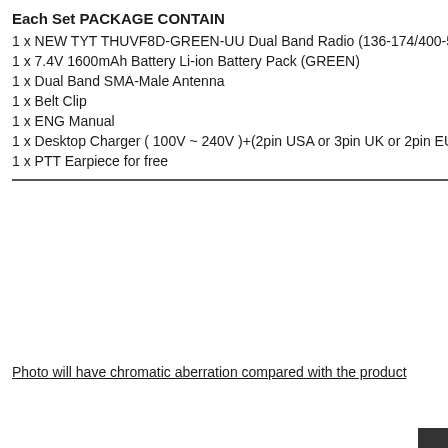Each Set PACKAGE CONTAIN
1 x NEW TYT THUVF8D-GREEN-UU Dual Band Radio (136-174/400-520MHz
1 x 7.4V 1600mAh Battery Li-ion Battery Pack (GREEN)
1 x Dual Band SMA-Male Antenna
1 x Belt Clip
1 x ENG Manual
1 x Desktop Charger ( 100V ~ 240V )+(2pin USA or 3pin UK or 2pin EURO or
1 x PTT Earpiece for free
Photo will have chromatic aberration compared with the product